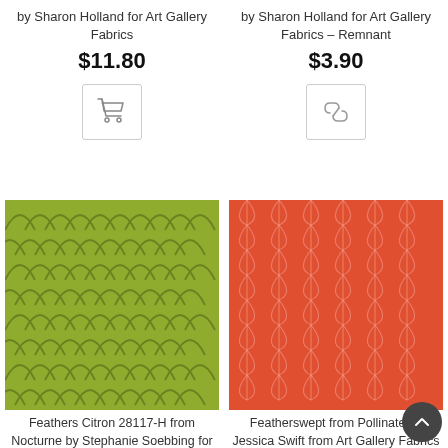by Sharon Holland for Art Gallery Fabrics
$11.80
[Figure (illustration): Shopping cart icon button in a bordered box]
by Sharon Holland for Art Gallery Fabrics – Remnant
$3.90
[Figure (illustration): Link/chain icon button in a bordered box]
[Figure (photo): Green fabric with scale/feather pattern - Feathers Citron 28117-H]
Feathers Citron 28117-H from Nocturne by Stephanie Soebbing for QT Fabrics
[Figure (photo): Orange/red fabric with featherswept leaf pattern]
Featherswept from Pollinate by Jessica Swift from Art Gallery Fabrics